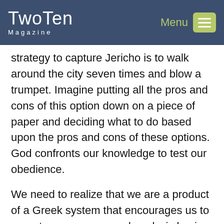TwoTen Magazine | Menu
strategy to capture Jericho is to walk around the city seven times and blow a trumpet. Imagine putting all the pros and cons of this option down on a piece of paper and deciding what to do based upon the pros and cons of these options. God confronts our knowledge to test our obedience.
We need to realize that we are a product of a Greek system that encourages us to operate on a reason and analysis basis without the power of God mixed in with our God-given reasoning abilities.